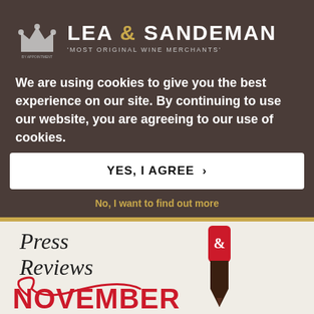[Figure (logo): Lea & Sandeman wine merchant logo with royal crown crest and tagline 'Most Original Wine Merchants']
We are using cookies to give you the best experience on our site. By continuing to use our website, you are agreeing to our use of cookies.
YES, I AGREE ›
No, I want to find out more
[Figure (illustration): Press & Reviews November illustration with decorative fountain pen and red cursive text on cream background]